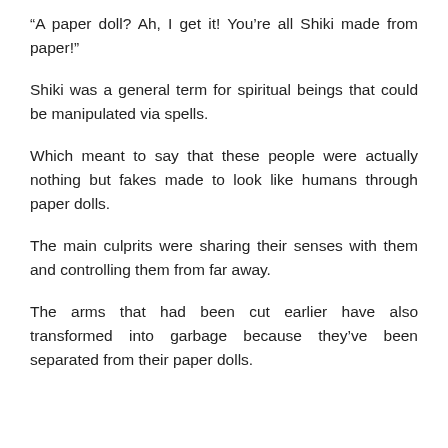“A paper doll? Ah, I get it! You’re all Shiki made from paper!”
Shiki was a general term for spiritual beings that could be manipulated via spells.
Which meant to say that these people were actually nothing but fakes made to look like humans through paper dolls.
The main culprits were sharing their senses with them and controlling them from far away.
The arms that had been cut earlier have also transformed into garbage because they’ve been separated from their paper dolls.